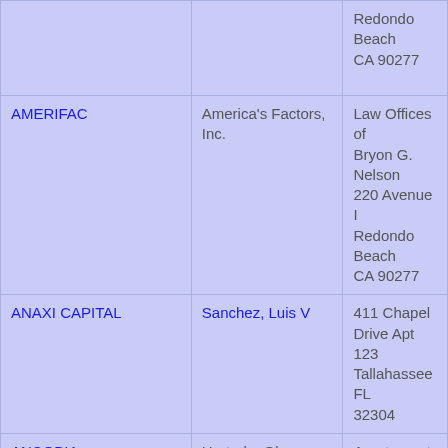| Company | Contact | Address |
| --- | --- | --- |
|  |  | Redondo Beach CA 90277 |
| AMERIFAC | America's Factors, Inc. | Law Offices of Bryon G. Nelson 220 Avenue I Redondo Beach CA 90277 |
| ANAXI CAPITAL | Sanchez, Luis V | 411 Chapel Drive Apt 123 Tallahassee FL 32304 |
| ANCOBIA | Hurtado, Olga Elena Posada | Apartamento 904 CO Medellin Colombia |
| ANDERSON & STRUDWICK GLOBAL | ANDERSON & STRUDWICK, INCORPORATED | 4510 COX ROAD, SUITE 109 |